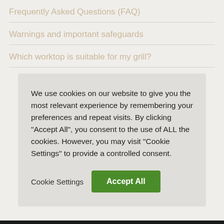Frequently Asked Questions (FAQ)
Warnings and important safeguards
Which worktop is suitable for my grill?
We use cookies on our website to give you the most relevant experience by remembering your preferences and repeat visits. By clicking “Accept All”, you consent to the use of ALL the cookies. However, you may visit “Cookie Settings” to provide a controlled consent.
Cookie Settings  Accept All
About us | Privacy policy | Legal
© Created by Focusate Group